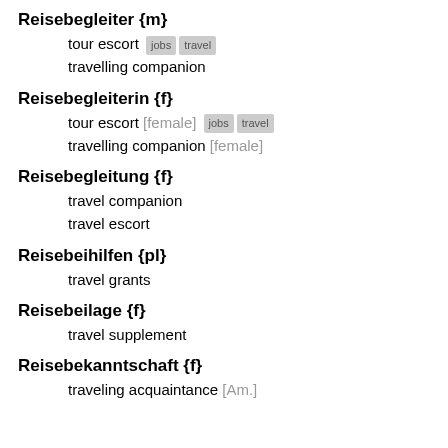Reisebegleiter {m}
tour escort [jobs] [travel]
travelling companion
Reisebegleiterin {f}
tour escort [female] [jobs] [travel]
travelling companion [female]
Reisebegleitung {f}
travel companion
travel escort
Reisebeihilfen {pl}
travel grants
Reisebeilage {f}
travel supplement
Reisebekanntschaft {f}
traveling acquaintance [Am.]